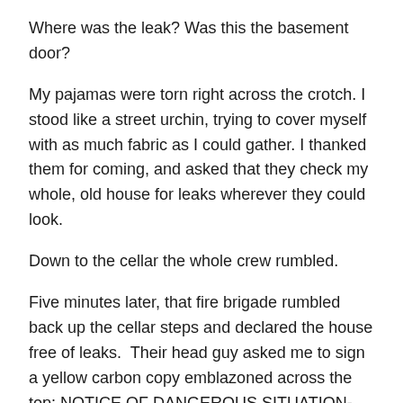Where was the leak? Was this the basement door?
My pajamas were torn right across the crotch. I stood like a street urchin, trying to cover myself with as much fabric as I could gather. I thanked them for coming, and asked that they check my whole, old house for leaks wherever they could look.
Down to the cellar the whole crew rumbled.
Five minutes later, that fire brigade rumbled back up the cellar steps and declared the house free of leaks. Their head guy asked me to sign a yellow carbon copy emblazoned across the top: NOTICE OF DANGEROUS SITUATION-CARBON MONOXIDE ALARM EMERGENCY-LEVEL OF -0-WAS DISCOVERED , and away they went in their big truck.
Wearily, I set about completing my next task: calling Verizon